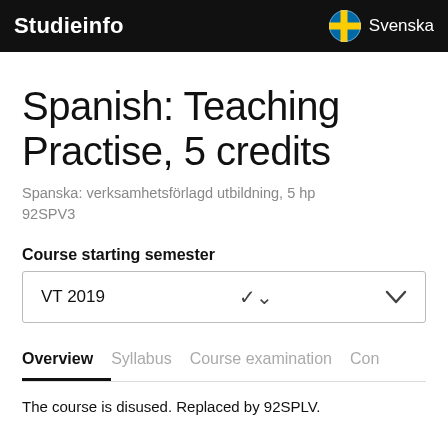Studieinfo  Svenska
Spanish: Teaching Practise, 5 credits
Spanska: verksamhetsförlagd utbildning, 5 hp
92SPV3
Course starting semester
VT 2019
Overview  Syllabus  Course examination  Con
The course is disused. Replaced by 92SPLV.